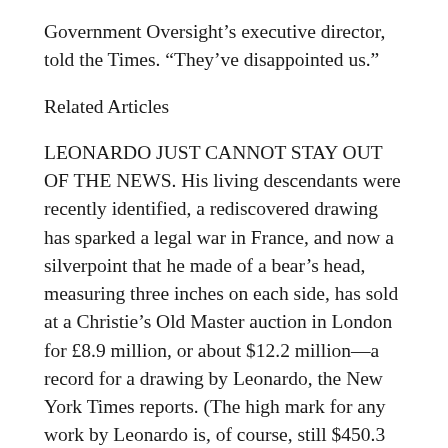Government Oversight’s executive director, told the Times. “They’ve disappointed us.”
Related Articles
LEONARDO JUST CANNOT STAY OUT OF THE NEWS. His living descendants were recently identified, a rediscovered drawing has sparked a legal war in France, and now a silverpoint that he made of a bear’s head, measuring three inches on each side, has sold at a Christie’s Old Master auction in London for £8.9 million, or about $12.2 million—a record for a drawing by Leonardo, the New York Times reports. (The high mark for any work by Leonardo is, of course, still $450.3 million, paid for the Salvator Mundi in 2017.) A total of seven artist records fell at the sale, the Art Newspaper reports, including those for Georges